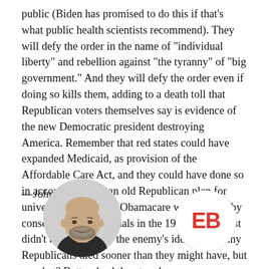public (Biden has promised to do this if that's what public health scientists recommend). They will defy the order in the name of "individual liberty" and rebellion against "the tyranny" of "big government." And they will defy the order even if doing so kills them, adding to a death toll that Republican voters themselves say is evidence of the new Democratic president destroying America. Remember that red states could have expanded Medicaid, as provision of the Affordable Care Act, and they could have done so in accordance with an old Republican plan for universal health care (Obamacare was hatched by conservative intellectuals in the 1980s). But most didn't because it was the enemy's idea. Yes, many Republicans died sooner than they might have, but so what? Better dead than tread.
—John Stoehr
[Figure (photo): Circular cropped headshot of a bald/closely shaved man with a beard, wearing dark clothing, against a light background.]
[Figure (logo): Circular white logo with red bold letters 'EB']